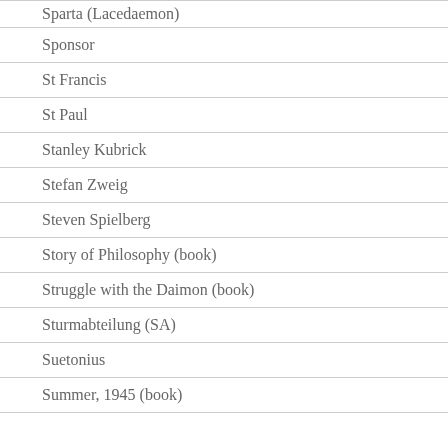Sparta (Lacedaemon)
Sponsor
St Francis
St Paul
Stanley Kubrick
Stefan Zweig
Steven Spielberg
Story of Philosophy (book)
Struggle with the Daimon (book)
Sturmabteilung (SA)
Suetonius
Summer, 1945 (book)